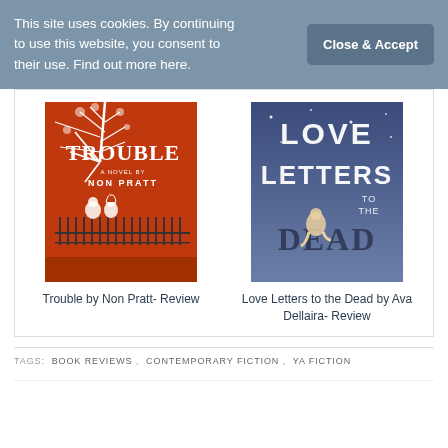This site uses cookies. By continuing to use this website, you consent to their use. Find out more here.
Close & Accept
[Figure (illustration): Book cover of 'Trouble' by Non Pratt - red/orange cover with white tree and two figures on a balcony]
Trouble by Non Pratt- Review
[Figure (illustration): Book cover of 'Love Letters to the Dead' - dark blue/purple night sky cover with a girl sitting on letters]
Love Letters to the Dead by Ava Dellaira- Review
TAGS:  BOOK REVIEWS ,  CONTEMPORARY FICTION ,  YA FICTION